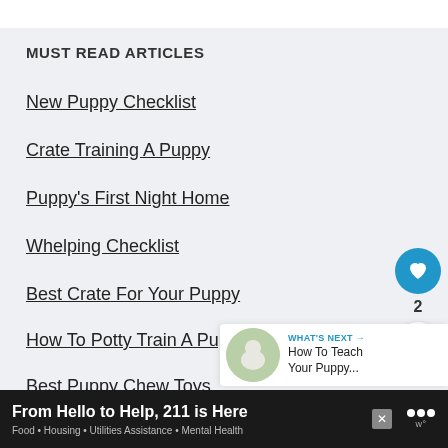MUST READ ARTICLES
New Puppy Checklist
Crate Training A Puppy
Puppy's First Night Home
Whelping Checklist
Best Crate For Your Puppy
How To Potty Train A Puppy
Best Puppy Chew Toys
WHAT'S NEXT → How To Teach Your Puppy...
From Hello to Help, 211 is Here
Food · Housing · Utilities Assistance · Mental Health